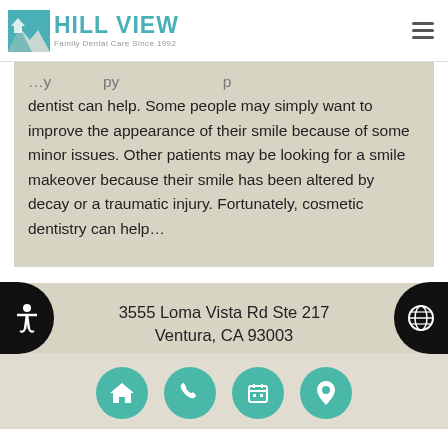HILL VIEW Family Dental Care Since 1992
dentist can help. Some people may simply want to improve the appearance of their smile because of some minor issues. Other patients may be looking for a smile makeover because their smile has been altered by decay or a traumatic injury. Fortunately, cosmetic dentistry can help…
3555 Loma Vista Rd Ste 217 Ventura, CA 93003